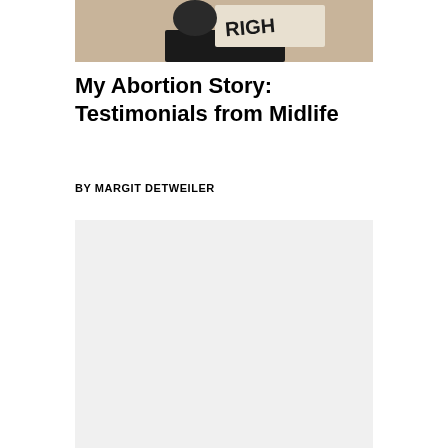[Figure (photo): A person holding a sign with 'RIGHTS' written on it, cropped at the top of the page showing partial view]
My Abortion Story: Testimonials from Midlife
BY MARGIT DETWEILER
[Figure (other): Large light gray rectangular advertisement or placeholder block]